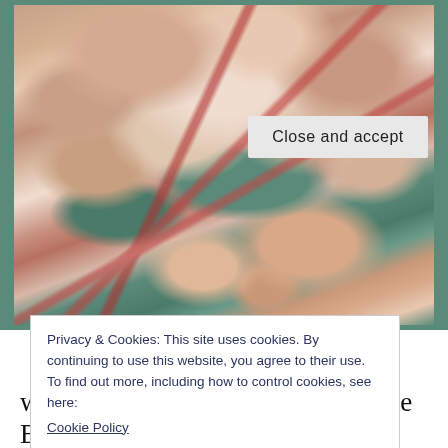[Figure (photo): Close-up photo of a pile of rock lobster/crustacean shells on a teal/green surface, showing pinkish-orange segmented bodies and red antennae/claws. One smaller lobster piece is visible below the main pile on the teal background.]
Privacy & Cookies: This site uses cookies. By continuing to use this website, you agree to their use.
To find out more, including how to control cookies, see here:
Cookie Policy
Close and accept
wedding was “Rock Lobster” by the B–52s.  If